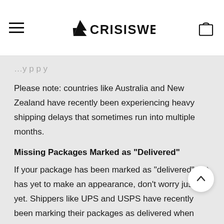CRISISWEAR
Please note: countries like Australia and New Zealand have recently been experiencing heavy shipping delays that sometimes run into multiple months.
Missing Packages Marked as "Delivered"
If your package has been marked as "delivered" but has yet to make an appearance, don't worry just yet. Shippers like UPS and USPS have recently been marking their packages as delivered when they really aren't. Typically they will show up in a day or two. If it's been a week or more and your package still hasn't shown up, please contact us directly.
Order Cancellation
As of 1/20/2020, Crisiswear will be charging a 3% fee for refunds